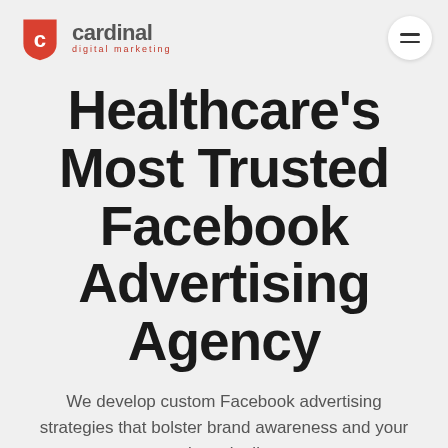[Figure (logo): Cardinal Digital Marketing logo — red shield icon with white 'c', followed by 'cardinal' in gray bold text and 'digital marketing' in red small text]
Healthcare's Most Trusted Facebook Advertising Agency
We develop custom Facebook advertising strategies that bolster brand awareness and your patient pipeline.
Request a Free Proposal